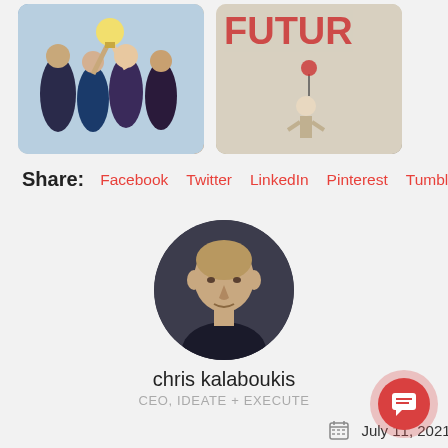[Figure (photo): Two article preview cards side by side. Left card shows a group of business people with a lightbulb, labeled 'Innovation Starts With HR'. Right card shows a Banksy-style graffiti image with text 'Thinking About The Future Is Meaningless'.]
Share:  Facebook  Twitter  LinkedIn  Pinterest  Tumblr
[Figure (photo): Circular profile photo of chris kalaboukis, a middle-aged bald man in a dark shirt against a dark background.]
chris kalaboukis
CEO, IDEATE + EXECUTE
July 11, 2021